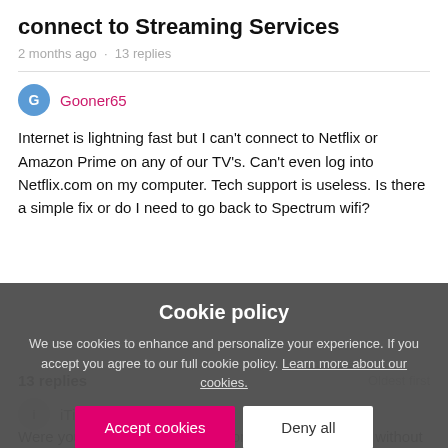connect to Streaming Services
2 months ago · 13 replies
Gooner65
Internet is lightning fast but I can't connect to Netflix or Amazon Prime on any of our TV's. Can't even log into Netflix.com on my computer. Tech support is useless. Is there a simple fix or do I need to go back to Spectrum wifi?
Cookie policy
We use cookies to enhance and personalize your experience. If you accept you agree to our full cookie policy. Learn more about our cookies.
13 replies
Oldest first
iTinkeralot
Were you able to get your TVs connected to the WIFI without